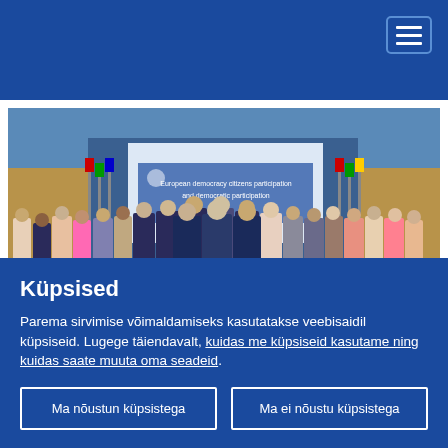[Figure (other): Hamburger/menu icon button in top-right corner of blue header bar]
[Figure (photo): Group photo of approximately 50 people standing in a conference hall with flags in the background and a presentation screen showing 'European democracy citizens participation and...' text]
Küpsised
Parema sirvimise võimaldamiseks kasutatakse veebisaidil küpsiseid. Lugege täiendavalt, kuidas me küpsiseid kasutame ning kuidas saate muuta oma seadeid.
Ma nõustun küpsistega
Ma ei nõustu küpsistega